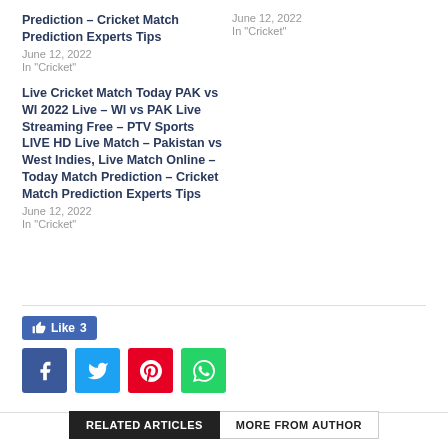Prediction – Cricket Match Prediction Experts Tips
June 12, 2022
In "Cricket"
June 12, 2022
In "Cricket"
Live Cricket Match Today PAK vs WI 2022 Live – WI vs PAK Live Streaming Free – PTV Sports LIVE HD Live Match – Pakistan vs West Indies, Live Match Online – Today Match Prediction – Cricket Match Prediction Experts Tips
June 12, 2022
In "Cricket"
[Figure (other): Social media share buttons: Facebook Like (3), and share icons for Facebook, Twitter, Pinterest, WhatsApp]
RELATED ARTICLES  MORE FROM AUTHOR